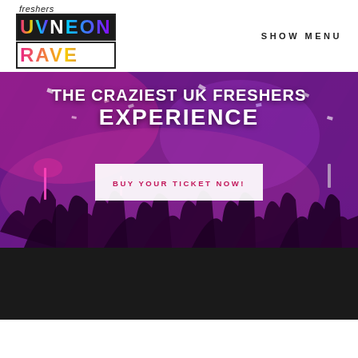[Figure (logo): Freshers UV Neon Rave logo with rainbow gradient letters and script 'freshers' text above]
SHOW MENU
[Figure (photo): Party/rave crowd photo with purple and pink lighting, confetti, hands raised]
THE CRAZIEST UK FRESHERS EXPERIENCE
BUY YOUR TICKET NOW!